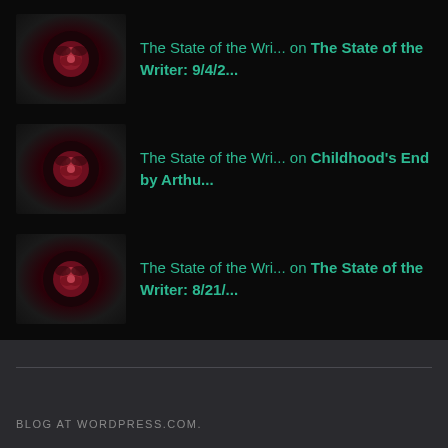The State of the Wri... on The State of the Writer: 9/4/2...
The State of the Wri... on Childhood's End by Arthu...
The State of the Wri... on The State of the Writer: 8/21/...
cupcakesandmachetes on The State of the Writer: 8/21/...
The Shameful Narciss... on The State of the Writer: 8/21/...
BLOG AT WORDPRESS.COM.